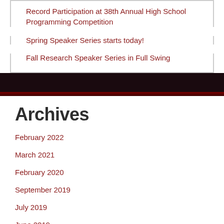Record Participation at 38th Annual High School Programming Competition
Spring Speaker Series starts today!
Fall Research Speaker Series in Full Swing
Archives
February 2022
March 2021
February 2020
September 2019
July 2019
June 2019
March 2019
February 2019